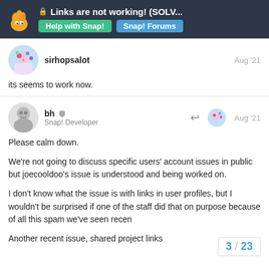Links are not working! (SOLV... | Help with Snap! | Snap! Forums
sirhopsalot — Aug '21
its seems to work now.
bh (Snap! Developer) — Aug '21
Please calm down.

We're not going to discuss specific users' account issues in public but joecooldoo's issue is understood and being worked on.

I don't know what the issue is with links in user profiles, but I wouldn't be surprised if one of the staff did that on purpose because of all this spam we've seen recen

Another recent issue, shared project links
3 / 23